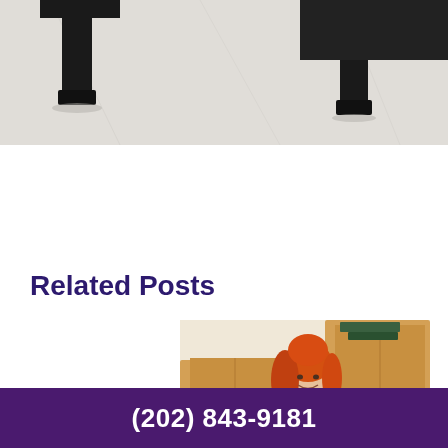[Figure (photo): Top portion of a room with a dark wooden piano/table legs visible on a white/light marble floor, viewed from above]
Related Posts
[Figure (photo): A woman with bright orange/red hair smiling while surrounded by moving boxes, packing or unpacking cardboard boxes]
(202) 843-9181